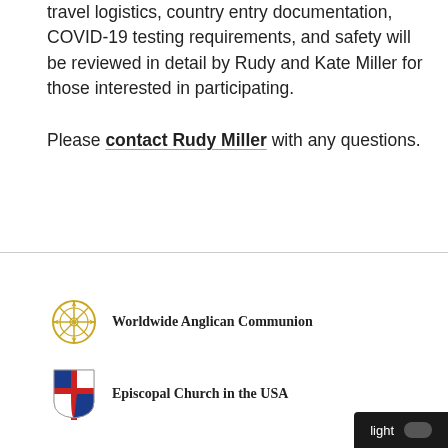travel logistics, country entry documentation, COVID-19 testing requirements, and safety will be reviewed in detail by Rudy and Kate Miller for those interested in participating.
Please contact Rudy Miller with any questions.
[Figure (logo): Worldwide Anglican Communion compass rose logo with text]
[Figure (logo): Episcopal Church in the USA shield logo with text]